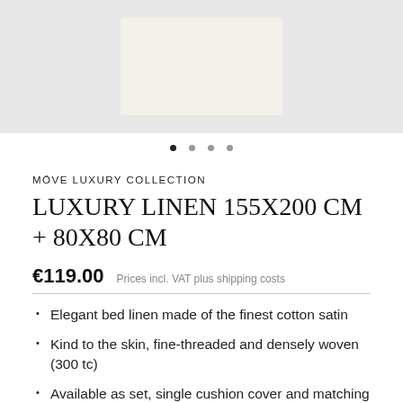[Figure (photo): Product image of white/cream luxury bed linen set on light grey background]
MÖVE LUXURY COLLECTION
LUXURY LINEN 155X200 CM + 80X80 CM
€119.00  Prices incl. VAT plus shipping costs
Elegant bed linen made of the finest cotton satin
Kind to the skin, fine-threaded and densely woven (300 tc)
Available as set, single cushion cover and matching fitted sheets